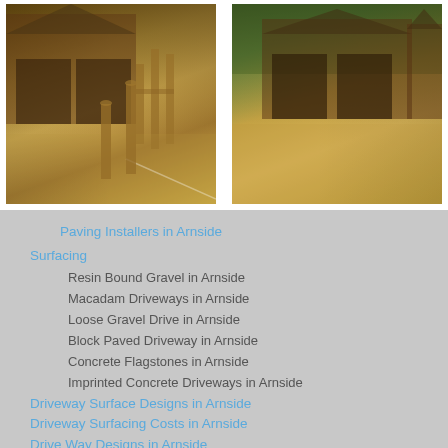[Figure (photo): Two side-by-side photos of a resin bound gravel driveway in front of a brick house with dark garage doors and wooden fencing. Left photo shows wooden bollards and a sandy-colored driveway surface. Right photo shows a wider view of the same or similar driveway from a different angle with green trees in the background.]
Paving Installers in Arnside Surfacing
Resin Bound Gravel in Arnside
Macadam Driveways in Arnside
Loose Gravel Drive in Arnside
Block Paved Driveway in Arnside
Concrete Flagstones in Arnside
Imprinted Concrete Driveways in Arnside
Driveway Surface Designs in Arnside
Driveway Surfacing Costs in Arnside
Drive Way Designs in Arnside
Decorative Porous Surfacing in Arnside